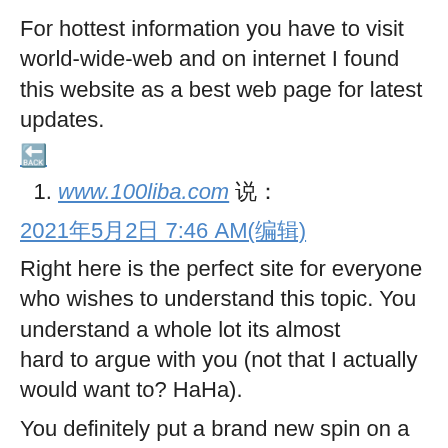For hottest information you have to visit world-wide-web and on internet I found this website as a best web page for latest updates.
🔁 (reply icon link)
www.100liba.com 说:
2021年5月2日 7:46 AM(编辑)
Right here is the perfect site for everyone who wishes to understand this topic. You understand a whole lot its almost
hard to argue with you (not that I actually would want to? HaHa).
You definitely put a brand new spin on a subject